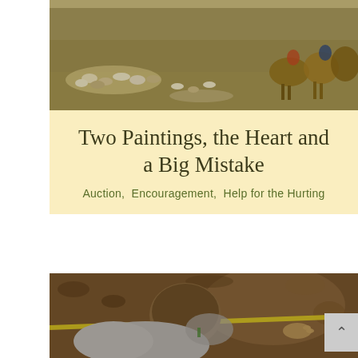[Figure (photo): Painting depicting a fox hunt scene with hounds and horses on a grassy landscape]
Two Paintings, the Heart and a Big Mistake
Auction,  Encouragement,  Help for the Hurting
[Figure (photo): Child in a grey hoodie bending down close to soil with a yellow measuring tape, planting or examining something in the dirt]